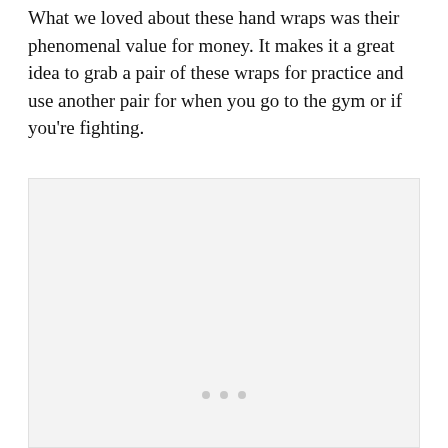What we loved about these hand wraps was their phenomenal value for money. It makes it a great idea to grab a pair of these wraps for practice and use another pair for when you go to the gym or if you're fighting.
[Figure (other): A light gray rectangular image placeholder with three small gray dots centered near the bottom, indicating a loading or empty image area.]